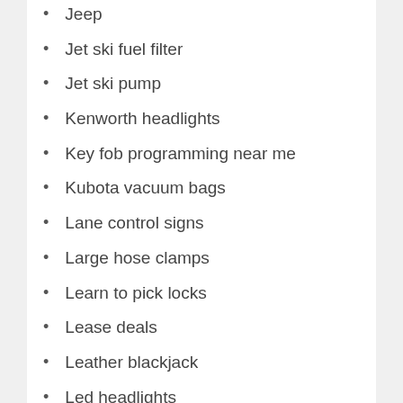Jeep
Jet ski fuel filter
Jet ski pump
Kenworth headlights
Key fob programming near me
Kubota vacuum bags
Lane control signs
Large hose clamps
Learn to pick locks
Lease deals
Leather blackjack
Led headlights